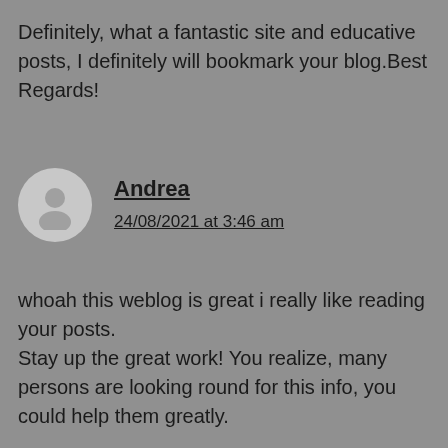Definitely, what a fantastic site and educative posts, I definitely will bookmark your blog.Best Regards!
Andrea
24/08/2021 at 3:46 am
whoah this weblog is great i really like reading your posts.
Stay up the great work! You realize, many persons are looking round for this info, you could help them greatly.